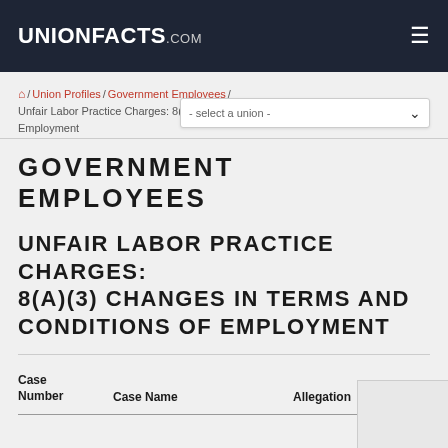UNIONFACTS.COM
/ Union Profiles / Government Employees / Unfair Labor Practice Charges: 8(a)(3) Changes in Terms and Conditions of Employment
GOVERNMENT EMPLOYEES
UNFAIR LABOR PRACTICE CHARGES: 8(A)(3) CHANGES IN TERMS AND CONDITIONS OF EMPLOYMENT
| Case Number | Case Name | Allegation |
| --- | --- | --- |